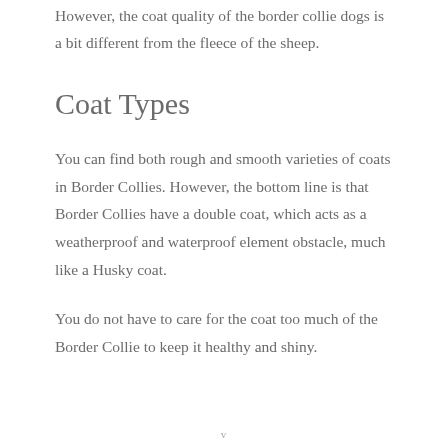However, the coat quality of the border collie dogs is a bit different from the fleece of the sheep.
Coat Types
You can find both rough and smooth varieties of coats in Border Collies. However, the bottom line is that Border Collies have a double coat, which acts as a weatherproof and waterproof element obstacle, much like a Husky coat.
You do not have to care for the coat too much of the Border Collie to keep it healthy and shiny.
v